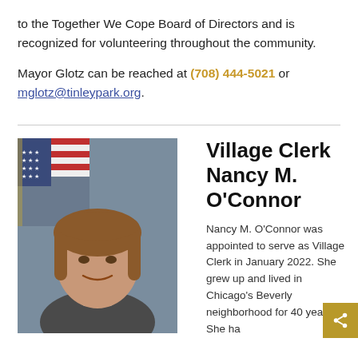to the Together We Cope Board of Directors and is recognized for volunteering throughout the community.
Mayor Glotz can be reached at (708) 444-5021 or mglotz@tinleypark.org.
[Figure (photo): Portrait photo of Village Clerk Nancy M. O'Connor, a woman with shoulder-length brown hair, smiling, in front of an American flag background.]
Village Clerk Nancy M. O'Connor
Nancy M. O'Connor was appointed to serve as Village Clerk in January 2022. She grew up and lived in Chicago's Beverly neighborhood for 40 years. She ha